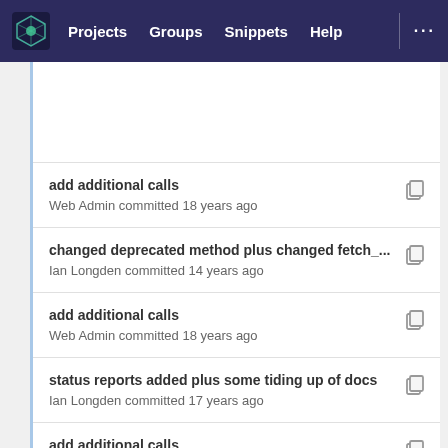Projects  Groups  Snippets  Help
add additional calls
Web Admin committed 18 years ago
changed deprecated method plus changed fetch_...
Ian Longden committed 14 years ago
add additional calls
Web Admin committed 18 years ago
status reports added plus some tiding up of docs
Ian Longden committed 17 years ago
add additional calls
Web Admin committed 18 years ago